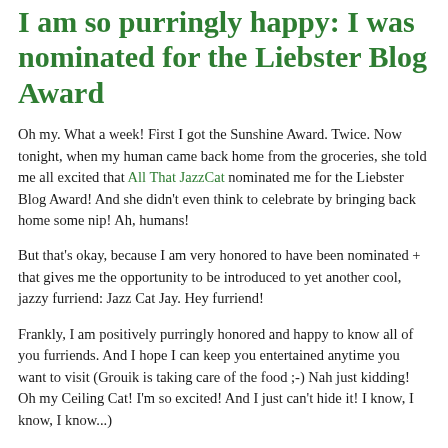I am so purringly happy: I was nominated for the Liebster Blog Award
Oh my. What a week! First I got the Sunshine Award. Twice. Now tonight, when my human came back home from the groceries, she told me all excited that All That JazzCat nominated me for the Liebster Blog Award! And she didn't even think to celebrate by bringing back home some nip! Ah, humans!
But that's okay, because I am very honored to have been nominated + that gives me the opportunity to be introduced to yet another cool, jazzy furriend: Jazz Cat Jay. Hey furriend!
Frankly, I am positively purringly honored and happy to know all of you furriends. And I hope I can keep you entertained anytime you want to visit (Grouik is taking care of the food ;-) Nah just kidding! Oh my Ceiling Cat! I'm so excited! And I just can't hide it! I know, I know, I know...